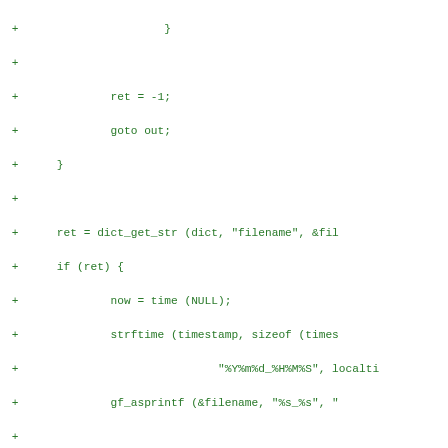[Figure (other): Diff/patch view of C source code showing added lines (marked with '+') in green monospace font. The code shows file I/O operations including dict_get_str, strftime, gf_asprintf, gf_msg, strlen, strcat, and dict_set_str function calls.]